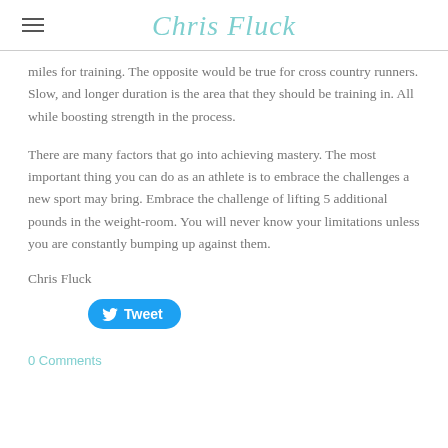Chris Fluck
miles for training. The opposite would be true for cross country runners. Slow, and longer duration is the area that they should be training in. All while boosting strength in the process.
There are many factors that go into achieving mastery. The most important thing you can do as an athlete is to embrace the challenges a new sport may bring. Embrace the challenge of lifting 5 additional pounds in the weight-room. You will never know your limitations unless you are constantly bumping up against them.
Chris Fluck
[Figure (other): Tweet button with Twitter bird icon]
0 Comments